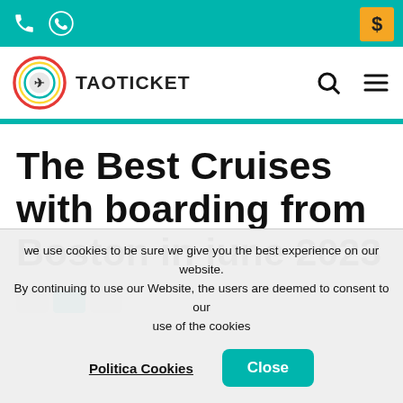Taoticket website top bar with phone, WhatsApp icons and dollar currency button
[Figure (logo): Taoticket logo: circular globe icon with arrows and text TAOTICKET, plus search and hamburger menu icons]
The Best Cruises with boarding from Boston in june 2023
we use cookies to be sure we give you the best experience on our website. By continuing to use our Website, the users are deemed to consent to our use of the cookies
Politica Cookies   Close